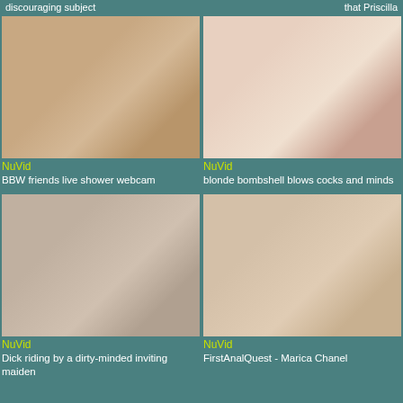discouraging subject | that Priscilla
[Figure (photo): Video thumbnail - shower scene]
NuVid
BBW friends live shower webcam
[Figure (photo): Video thumbnail - blonde woman close-up]
NuVid
blonde bombshell blows cocks and minds
[Figure (photo): Video thumbnail - woman with glasses]
NuVid
Dick riding by a dirty-minded inviting maiden
[Figure (photo): Video thumbnail - blonde woman]
NuVid
FirstAnalQuest - Marica Chanel